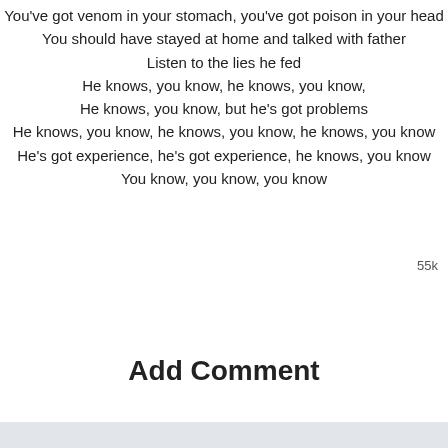You've got venom in your stomach, you've got poison in your head
You should have stayed at home and talked with father
Listen to the lies he fed
He knows, you know, he knows, you know,
He knows, you know, but he's got problems
He knows, you know, he knows, you know, he knows, you know
He's got experience, he's got experience, he knows, you know
You know, you know, you know
55k
Submit lyrics correction →
Like
Add Comment